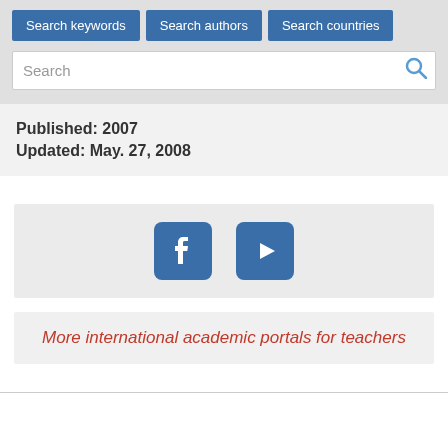Search keywords | Search authors | Search countries
Search
Published: 2007
Updated: May. 27, 2008
[Figure (other): Social media icons: Facebook and YouTube/video play button]
More international academic portals for teachers